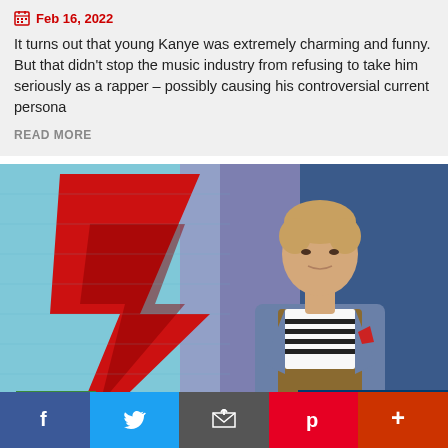Feb 16, 2022
It turns out that young Kanye was extremely charming and funny. But that didn't stop the music industry from refusing to take him seriously as a rapper – possibly causing his controversial current persona
READ MORE
[Figure (photo): Man standing in front of a colorful graffiti wall featuring a red lightning bolt on a light blue and dark blue background. The man has light brown hair, wearing a blue jacket over a striped shirt and brown vest. A green MEDIA badge is in the lower left. The Guardian logo overlay is in the lower right.]
Facebook | Twitter | Email | Pinterest | More